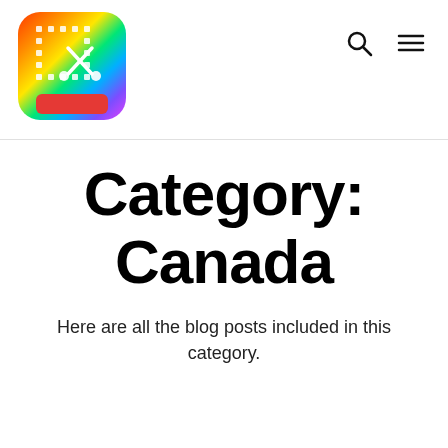[Figure (logo): Colorful app icon with gradient colors (rainbow pixel/scissor motif) with a red tab at the bottom, displayed in the top-left header area]
Category: Canada — Here are all the blog posts included in this category.
Category:
Canada
Here are all the blog posts included in this category.